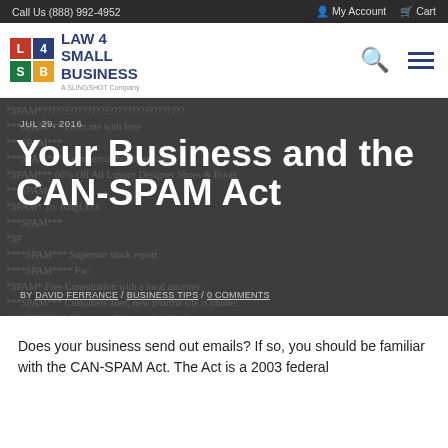Call Us (888) 992-4952 | My Account | Cart
[Figure (logo): Law 4 Small Business logo with colorful grid icon and text]
[Figure (photo): Hero image showing spam email list with overlaid article title, date, and byline on dark background]
Your Business and the CAN-SPAM Act
JUL 29, 2016
BY DAVID FERRANCE / BUSINESS TIPS / 0 COMMENTS
Does your business send out emails?  If so, you should be familiar with the CAN-SPAM Act.  The Act is a 2003 federal